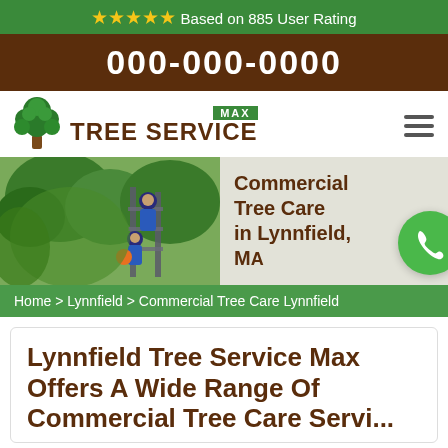★★★★★ Based on 885 User Rating
000-000-0000
[Figure (logo): Max Tree Service logo with green tree icon and brown text]
[Figure (photo): Workers trimming trees on a ladder with commercial tree care text overlay]
Home > Lynnfield > Commercial Tree Care Lynnfield
Lynnfield Tree Service Max Offers A Wide Range Of Commercial Tree Care Servi...